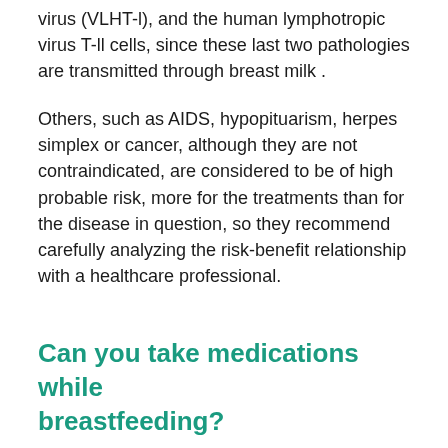virus (VLHT-l), and the human lymphotropic virus T-ll cells, since these last two pathologies are transmitted through breast milk .
Others, such as AIDS, hypopituarism, herpes simplex or cancer, although they are not contraindicated, are considered to be of high probable risk, more for the treatments than for the disease in question, so they recommend carefully analyzing the risk-benefit relationship with a healthcare professional.
Can you take medications while breastfeeding?
There is no problem with taking acetaminophen, ibuprofen, and some antibiotics while breastfeeding, as long as you